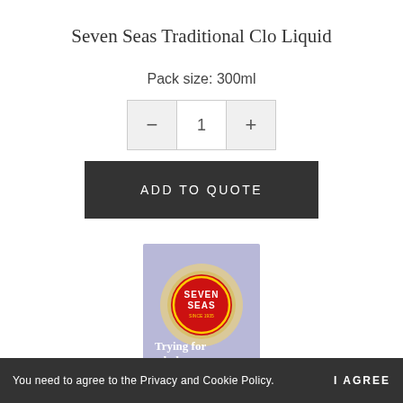Seven Seas Traditional Clo Liquid
Pack size: 300ml
[Figure (screenshot): Quantity selector control with minus button, quantity value of 1, and plus button]
ADD TO QUOTE
[Figure (photo): Seven Seas product packaging on a light purple background showing the Seven Seas logo (red circle with gold ring) and text 'Trying for a baby' with a blue bar at the bottom labeled 'Pre-Conception']
You need to agree to the Privacy and Cookie Policy.   I AGREE